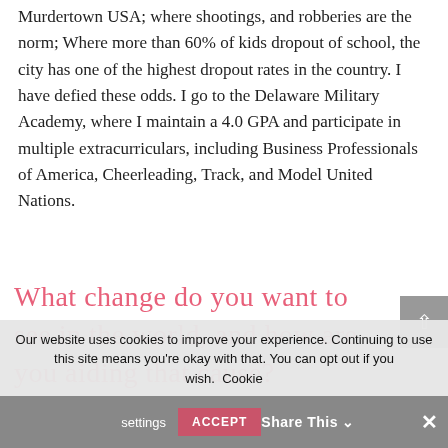Murdertown USA; where shootings, and robberies are the norm; Where more than 60% of kids dropout of school, the city has one of the highest dropout rates in the country. I have defied these odds. I go to the Delaware Military Academy, where I maintain a 4.0 GPA and participate in multiple extracurriculars, including Business Professionals of America, Cheerleading, Track, and Model United Nations.
[Figure (other): Cursive script text in pink/rose color reading: What change do you want to see in the world, and how are you aiding that cause?]
Our website uses cookies to improve your experience. Continuing to use this site means you're okay with that. You can opt out if you wish. Cookie settings ACCEPT
Share This ∨  ✕